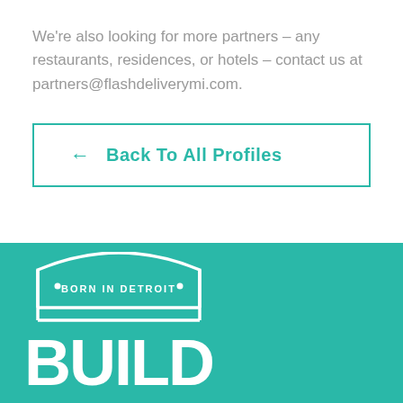We're also looking for more partners – any restaurants, residences, or hotels – contact us at partners@flashdeliverymi.com.
[Figure (other): Back To All Profiles button with teal border and left arrow]
[Figure (logo): Build Institute logo – Born in Detroit – on teal background with white text]